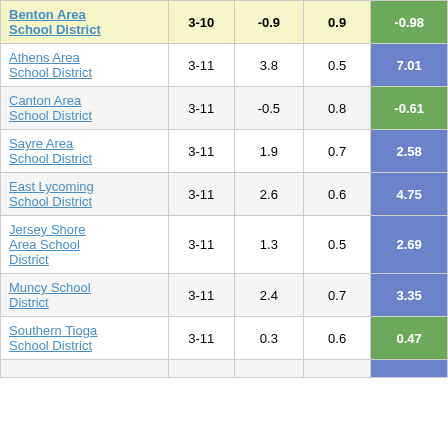| School District | Grades | Col3 | Col4 | Score |
| --- | --- | --- | --- | --- |
| Benton Area School District | 3-10 | -0.9 | 0.9 | -0.98 |
| Athens Area School District | 3-11 | 3.8 | 0.5 | 7.01 |
| Canton Area School District | 3-11 | -0.5 | 0.8 | -0.61 |
| Sayre Area School District | 3-11 | 1.9 | 0.7 | 2.58 |
| East Lycoming School District | 3-11 | 2.6 | 0.6 | 4.75 |
| Jersey Shore Area School District | 3-11 | 1.3 | 0.5 | 2.69 |
| Muncy School District | 3-11 | 2.4 | 0.7 | 3.35 |
| Southern Tioga School District | 3-11 | 0.3 | 0.6 | 0.47 |